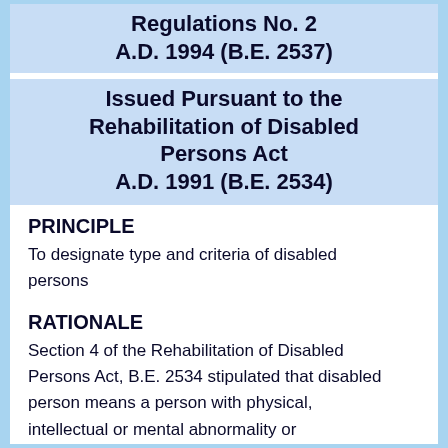Regulations No. 2 A.D. 1994 (B.E. 2537)
Issued Pursuant to the Rehabilitation of Disabled Persons Act A.D. 1991 (B.E. 2534)
PRINCIPLE
To designate type and criteria of disabled persons
RATIONALE
Section 4 of the Rehabilitation of Disabled Persons Act, B.E. 2534 stipulated that disabled person means a person with physical, intellectual or mental abnormality or